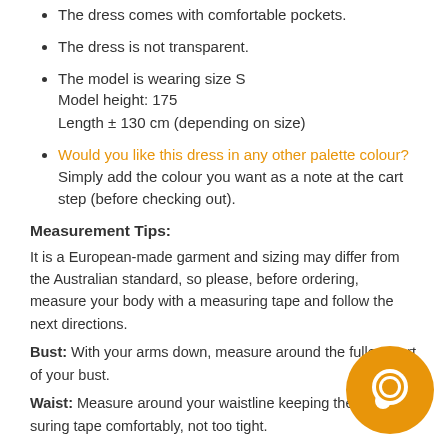The dress comes with comfortable pockets.
The dress is not transparent.
The model is wearing size S
Model height: 175
Length ± 130 cm (depending on size)
Would you like this dress in any other palette colour? Simply add the colour you want as a note at the cart step (before checking out).
Measurement Tips:
It is a European-made garment and sizing may differ from the Australian standard, so please, before ordering, measure your body with a measuring tape and follow the next directions.
Bust: With your arms down, measure around the fullest part of your bust.
Waist: Measure around your waistline keeping the measuring tape comfortably, not too tight.
[Figure (illustration): Orange circular chat/message bubble icon in bottom right corner]